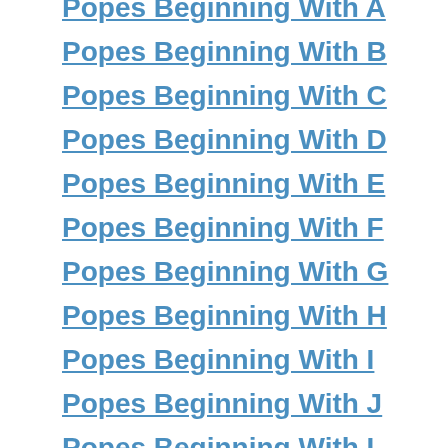Popes Beginning With A
Popes Beginning With B
Popes Beginning With C
Popes Beginning With D
Popes Beginning With E
Popes Beginning With F
Popes Beginning With G
Popes Beginning With H
Popes Beginning With I
Popes Beginning With J
Popes Beginning With L